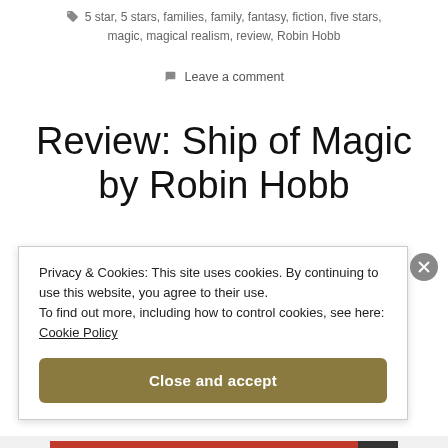🏷 5 star, 5 stars, families, family, fantasy, fiction, five stars, magic, magical realism, review, Robin Hobb
💬 Leave a comment
Review: Ship of Magic by Robin Hobb
Privacy & Cookies: This site uses cookies. By continuing to use this website, you agree to their use. To find out more, including how to control cookies, see here: Cookie Policy
Close and accept